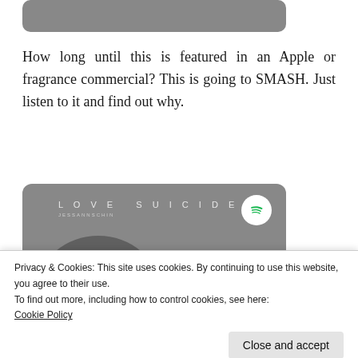[Figure (screenshot): Top portion of a Spotify embedded widget with rounded grey rectangle shape, partially cut off at top]
How long until this is featured in an Apple or fragrance commercial? This is going to SMASH. Just listen to it and find out why.
[Figure (screenshot): Spotify embedded music player widget showing the album 'LOVE SUICIDE' with a dark head silhouette and red heart on grey background, with Spotify logo in top right]
Privacy & Cookies: This site uses cookies. By continuing to use this website, you agree to their use.
To find out more, including how to control cookies, see here:
Cookie Policy
Close and accept
Love Suicide